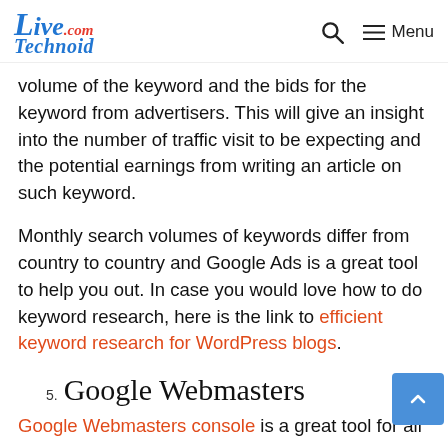LiveTechnoid.com | Search | Menu
volume of the keyword and the bids for the keyword from advertisers. This will give an insight into the number of traffic visit to be expecting and the potential earnings from writing an article on such keyword.
Monthly search volumes of keywords differ from country to country and Google Ads is a great tool to help you out. In case you would love how to do keyword research, here is the link to efficient keyword research for WordPress blogs.
5. Google Webmasters
Google Webmasters console is a great tool for all